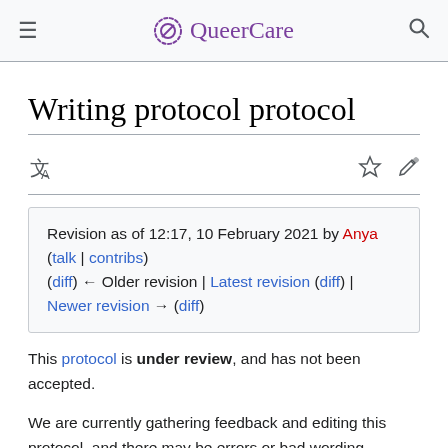QueerCare
Writing protocol protocol
Revision as of 12:17, 10 February 2021 by Anya (talk | contribs)
(diff) ← Older revision | Latest revision (diff) | Newer revision → (diff)
This protocol is under review, and has not been accepted.
We are currently gathering feedback and editing this protocol, and there may be errors or bad wording. Please